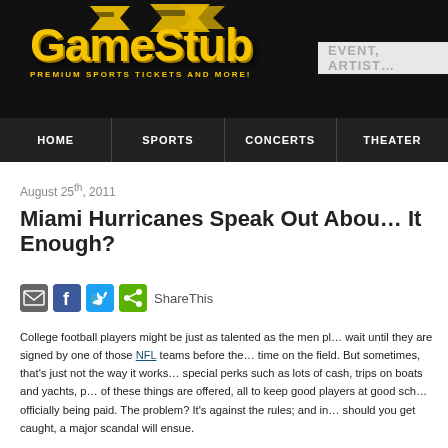GameStub - PREMIUM SPORTS TICKETS AND MORE!
[Figure (logo): GameStub logo with yellow text and ticket imagery on black background]
HOME | SPORTS | CONCERTS | THEATER
August 25th, 2011
Miami Hurricanes Speak Out About It Enough?
ShareThis
College football players might be just as talented as the men pl... wait until they are signed by one of those NFL teams before the... time on the field. But sometimes, that's just not the way it works... special perks such as lots of cash, trips on boats and yachts, p... of these things are offered, all to keep good players at good sch... officially being paid. The problem? It's against the rules; and in... should you get caught, a major scandal will ensue.